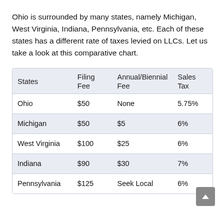Ohio is surrounded by many states, namely Michigan, West Virginia, Indiana, Pennsylvania, etc. Each of these states has a different rate of taxes levied on LLCs. Let us take a look at this comparative chart.
| States | Filing Fee | Annual/Biennial Fee | Sales Tax |
| --- | --- | --- | --- |
| Ohio | $50 | None | 5.75% |
| Michigan | $50 | $5 | 6% |
| West Virginia | $100 | $25 | 6% |
| Indiana | $90 | $30 | 7% |
| Pennsylvania | $125 | Seek Local | 6% |